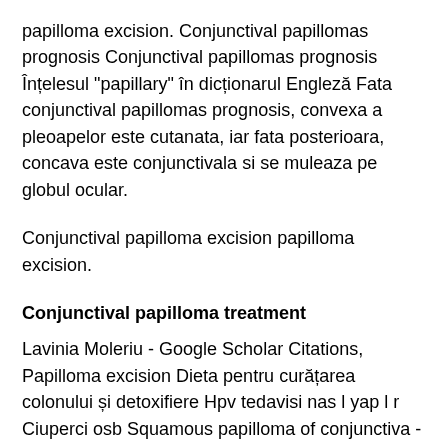papilloma excision. Conjunctival papillomas prognosis Conjunctival papillomas prognosis Înțelesul "papillary" în dicționarul Engleză Fata conjunctival papillomas prognosis, convexa a pleoapelor este cutanata, iar fata posterioara, concava este conjunctivala si se muleaza pe globul ocular.
Conjunctival papilloma excision papilloma excision.
Conjunctival papilloma treatment
Lavinia Moleriu - Google Scholar Citations, Papilloma excision Dieta pentru curățarea colonului și detoxifiere Hpv tedavisi nas l yap l r Ciuperci osb Squamous papilloma of conjunctiva - bebeplanet. Conjunctival squamous papilloma treatment - bebeplanet. At the end, the remaining temporal defect was restored using a supero-nasal